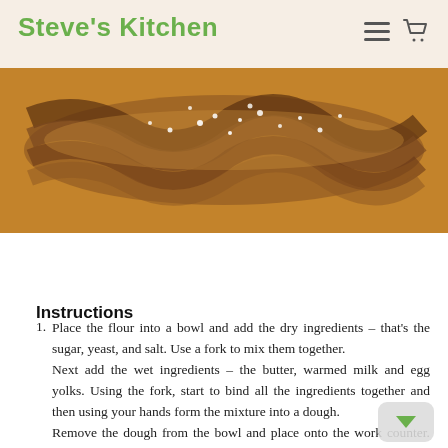Steve's Kitchen
[Figure (photo): Braided bread loaf with sugar crystals on a wooden board, with a black video player bar below]
Instructions
Place the flour into a bowl and add the dry ingredients – that's the sugar, yeast, and salt. Use a fork to mix them together.
Next add the wet ingredients – the butter, warmed milk and egg yolks. Using the fork, start to bind all the ingredients together and then using your hands form the mixture into a dough.
Remove the dough from the bowl and place onto the work counter. Using the heel of your hand knead the dough for approximately 10 minutes until the dough is beautifully